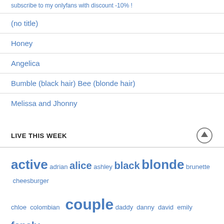(no title)
Honey
Angelica
Bumble (black hair) Bee (blonde hair)
Melissa and Jhonny
LIVE THIS WEEK
active adrian alice ashley black blonde brunette cheesburger chloe colombian couple daddy danny david emily fansly friends girls